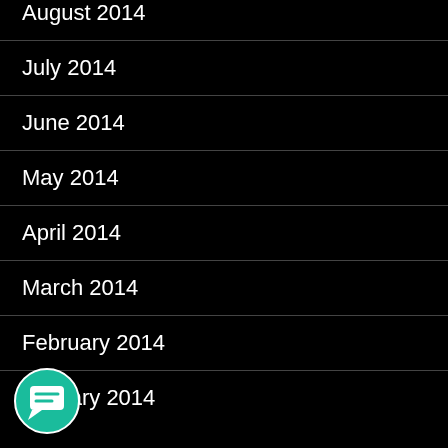August 2014
July 2014
June 2014
May 2014
April 2014
March 2014
February 2014
January 2014
CATEGORIES
Uncategorized
[Figure (illustration): Teal chat/message bubble icon button in bottom left corner]